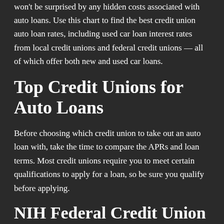won't be surprised by any hidden costs associated with auto loans. Use this chart to find the best credit union auto loan rates, including used car loan interest rates from local credit unions and federal credit unions — all of which offer both new and used car loans.
Top Credit Unions for Auto Loans
Before choosing which credit union to take out an auto loan with, take the time to compare the APRs and loan terms. Most credit unions require you to meet certain qualifications to apply for a loan, so be sure you qualify before applying.
NIH Federal Credit Union